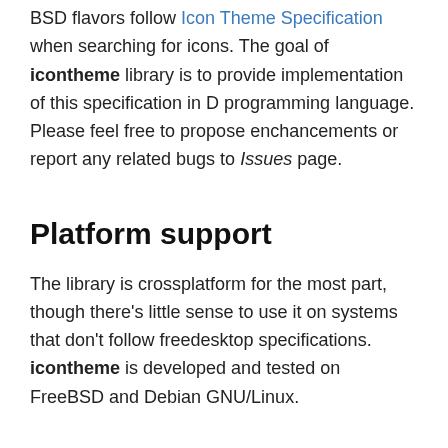BSD flavors follow Icon Theme Specification when searching for icons. The goal of icontheme library is to provide implementation of this specification in D programming language. Please feel free to propose enchancements or report any related bugs to Issues page.
Platform support
The library is crossplatform for the most part, though there's little sense to use it on systems that don't follow freedesktop specifications. icontheme is developed and tested on FreeBSD and Debian GNU/Linux.
Features
Implemented features